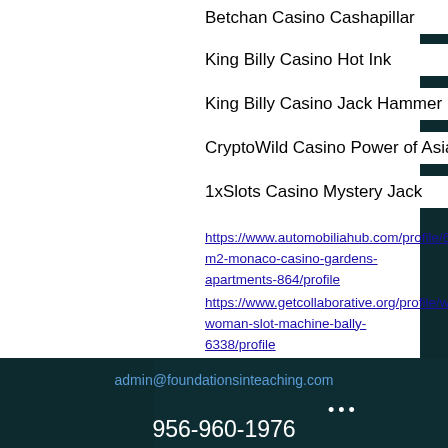Betchan Casino Cashapillar
King Billy Casino Hot Ink
King Billy Casino Jack Hammer
CryptoWild Casino Power of Asia
1xSlots Casino Mystery Jack
https://www.automobiliahub.com/profile/60-m2-monaco-casino-gardens-apartments-864/profile https://www.getcollaborative.org/profile/wonder-woman-slot-machine-bally-6338/profile https://www.mitchellsbarbershop.net/profile/ace-ventura-theme-song-7513/profile https://www.lomejordelmundolamusica.com/profile/puerto-madero-casino-poker-7564/profile
admin@foundationsinteaching.com 956-960-1976